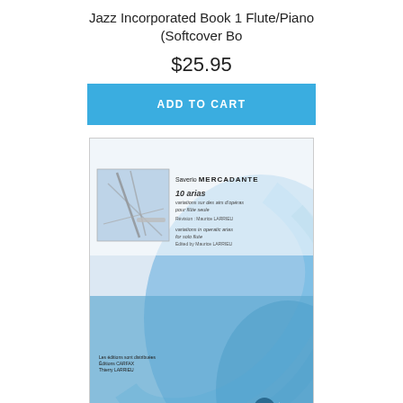Jazz Incorporated Book 1 Flute/Piano (Softcover Bo
$25.95
ADD TO CART
[Figure (photo): Book cover image: Saverio Mercadante - 10 arias for solo flute, edited by Maurice Larrieu. Cover shows flutes/instruments on blue background with publisher logo.]